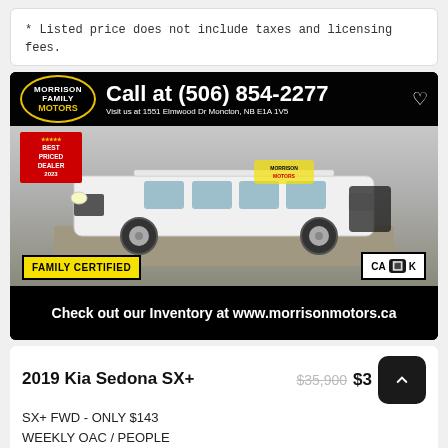* Listed price does not include taxes and licensing fees.
[Figure (photo): Morrison Family Motors dealership advertisement showing a white 2019 Kia Sedona SX+ minivan in a showroom. Top banner shows Morrison Motors logo and phone number Call at (506) 854-2277. Bottom left badge says FAMILY CERTIFIED, bottom right shows CARFAX logo. Bottom banner reads: Check out our Inventory at www.morrisonmotors.ca]
2019 Kia Sedona SX+
$35,900 $3…
SX+ FWD - ONLY $143
WEEKLY OAC / PEOPLE
MOVER / POWER DOORS /